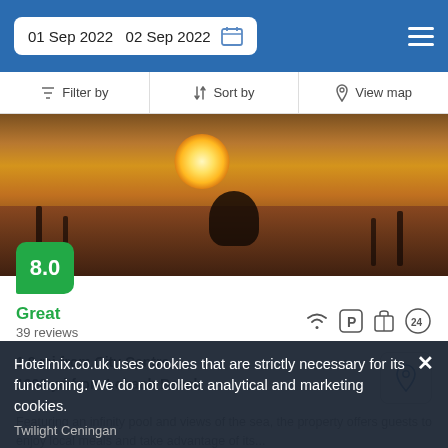01 Sep 2022  02 Sep 2022
Filter by  |  Sort by  |  View map
[Figure (photo): Hotel beach/sunset photo showing a person floating in water with a rubber ring at sunset, with wooden posts and ropes in the water]
8.0
Great
39 reviews
1.8 mi from City Centre
1000 yd from Lebaoh Beach
Featuring an infinity pool and views of the sea, the property offers guests to enjoy local meals and take advantage of its...
from £ 55 /night
SELECT
Hotelmix.co.uk uses cookies that are strictly necessary for its functioning. We do not collect analytical and marketing cookies.
Twilight Ceningan